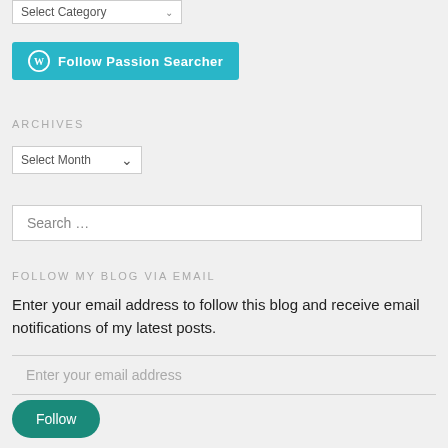[Figure (screenshot): Select Category dropdown widget at top of page]
[Figure (screenshot): Follow Passion Searcher button with WordPress icon]
ARCHIVES
[Figure (screenshot): Select Month dropdown widget]
[Figure (screenshot): Search input box with placeholder text 'Search ...']
FOLLOW MY BLOG VIA EMAIL
Enter your email address to follow this blog and receive email notifications of my latest posts.
[Figure (screenshot): Enter your email address input field]
[Figure (screenshot): Follow button (green rounded button)]